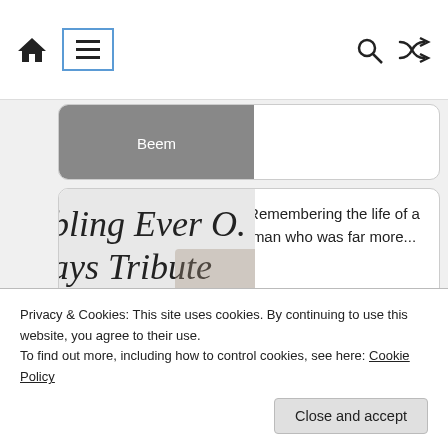Navigation bar with home, menu, search, and shuffle icons
[Figure (screenshot): Partial card showing 'Beem' label on grey image thumbnail]
Remembering the life of a man who was far more...
[Figure (photo): Script text reading 'bling Ever O... ays Tribute...' with overlay text 'REO Pays Tribute: William "Bill" Sample']
Number Four will leave you
Privacy & Cookies: This site uses cookies. By continuing to use this website, you agree to their use.
To find out more, including how to control cookies, see here: Cookie Policy